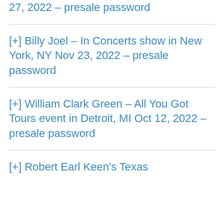27, 2022 – presale password
[+] Billy Joel – In Concerts show in New York, NY Nov 23, 2022 – presale password
[+] William Clark Green – All You Got Tours event in Detroit, MI Oct 12, 2022 – presale password
[+] Robert Earl Keen's Texas